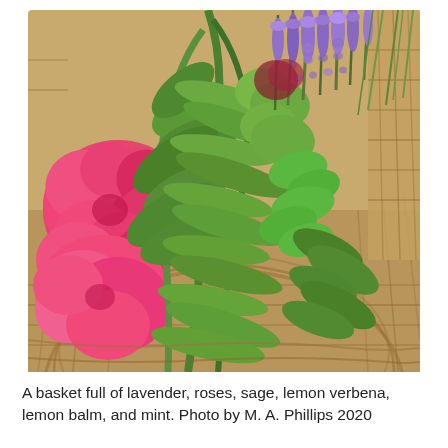[Figure (photo): A wicker basket viewed from above, filled with fresh herbs and flowers including pink roses, lavender sprigs with purple flowers, large green sage leaves, lemon verbena, lemon balm, and mint.]
A basket full of lavender, roses, sage, lemon verbena, lemon balm, and mint. Photo by M. A. Phillips 2020